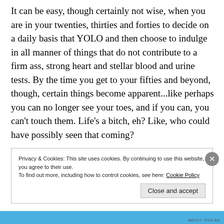It can be easy, though certainly not wise, when you are in your twenties, thirties and forties to decide on a daily basis that YOLO and then choose to indulge in all manner of things that do not contribute to a firm ass, strong heart and stellar blood and urine tests. By the time you get to your fifties and beyond, though, certain things become apparent...like perhaps you can no longer see your toes, and if you can, you can't touch them. Life's a bitch, eh? Like, who could have possibly seen that coming?
Privacy & Cookies: This site uses cookies. By continuing to use this website, you agree to their use.
To find out more, including how to control cookies, see here: Cookie Policy
Close and accept